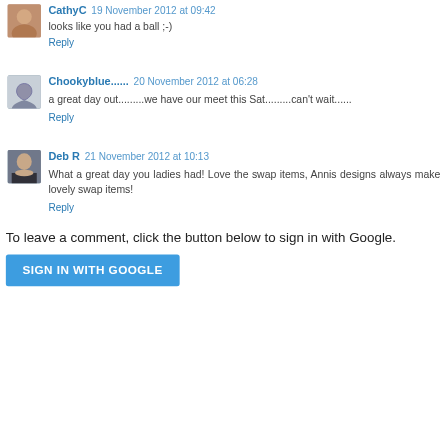CathyC  19 November 2012 at 09:42
looks like you had a ball ;-)
Reply
Chookyblue......  20 November 2012 at 06:28
a great day out.........we have our meet this Sat.........can't wait......
Reply
Deb R  21 November 2012 at 10:13
What a great day you ladies had! Love the swap items, Annis designs always make lovely swap items!
Reply
To leave a comment, click the button below to sign in with Google.
SIGN IN WITH GOOGLE